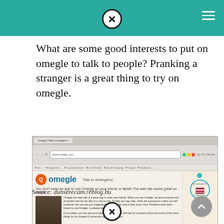What are some good interests to put on omegle to talk to people? Pranking a stranger is a great thing to try on omegle.
[Figure (screenshot): Screenshot of the Omegle website 'Talk to strangers!' page open in a web browser, showing the Omegle logo, a person's video thumbnail labeled 'Gary Johnson 2016', site content text, a blue 'Video is monitored. Keep it clean' banner, and a 'What do you wanna talk about?' chat start section with Next and Video buttons. A VPN sidebar panel is visible on the right showing 'Recording from: United States'.]
Source: dunserecam.reblog.hu